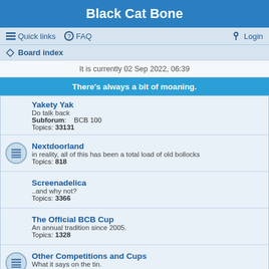Black Cat Bone
Quick links  FAQ  Login
Board index
It is currently 02 Sep 2022, 06:39
There's always a bit of moaning.
Yakety Yak
Do talk back
Subforum: BCB 100
Topics: 33131
Nextdoorland
in reality, all of this has been a total load of old bollocks
Topics: 818
Screenadelica
..and why not?
Topics: 3366
The Official BCB Cup
An annual tradition since 2005.
Topics: 1328
Other Competitions and Cups
What it says on the tin.
Topics: 2623
Footy Ups
Events people say they're coming to until a day or so before the event.
Topics: 531